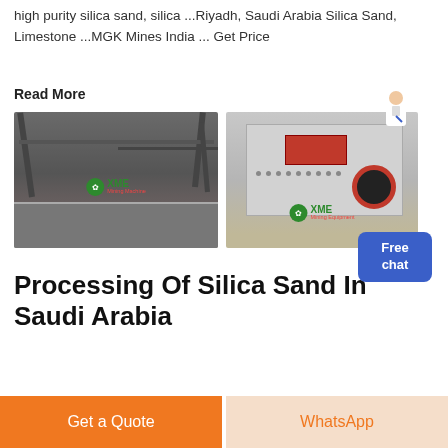high purity silica sand, silica ...Riyadh, Saudi Arabia Silica Sand, Limestone ...MGK Mines India ... Get Price
Read More
[Figure (photo): Two photos side by side: left shows large industrial mining/quarry equipment (crane/conveyor structures) with XME Mining Machine branding; right shows a grey industrial crusher machine with XME Mining Equipment branding and red components. A 'Free chat' button in blue overlays the top-right corner.]
Processing Of Silica Sand In Saudi Arabia
Get a Quote
WhatsApp